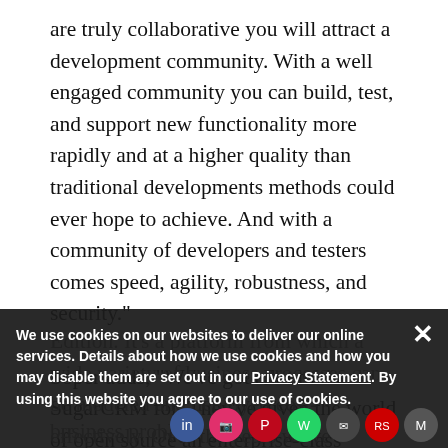are truly collaborative you will attract a development community. With a well engaged community you can build, test, and support new functionality more rapidly and at a higher quality than traditional developments methods could ever hope to achieve. And with a community of developers and testers comes speed, agility, robustness, and security."

Soper adds, "We've got a lot to thank SugarCRM for. They've given the world of open source an enterprise-class framework in Community Edition. It's a platform from which a wide variety of business processes can be modeled and deployed cost-effectively. Over the years we've ... business proble...
We use cookies on our websites to deliver our online services. Details about how we use cookies and how you may disable them are set out in our Privacy Statement. By using this website you agree to our use of cookies.